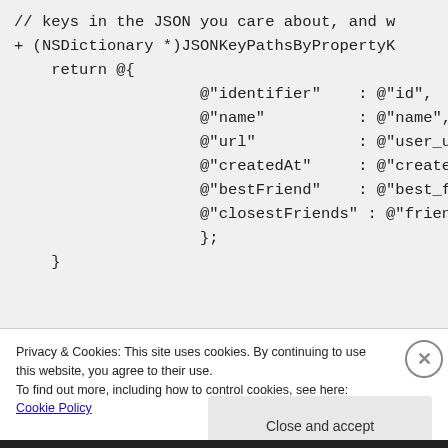// keys in the JSON you care about, and w
+ (NSDictionary *)JSONKeyPathsByPropertyK
    return @{
                    @"identifier"    : @"id",
                    @"name"          : @"name",
                    @"url"           : @"user_url"
                    @"createdAt"     : @"created_a
                    @"bestFriend"    : @"best_frie
                    @"closestFriends" : @"friend
                    };
    }
Privacy & Cookies: This site uses cookies. By continuing to use this website, you agree to their use.
To find out more, including how to control cookies, see here: Cookie Policy